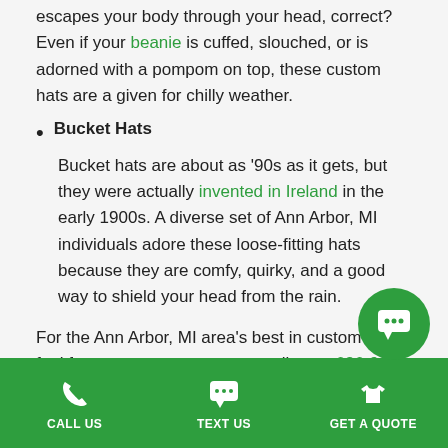escapes your body through your head, correct? Even if your beanie is cuffed, slouched, or is adorned with a pompom on top, these custom hats are a given for chilly weather.
Bucket Hats
Bucket hats are about as '90s as it gets, but they were actually invented in Ireland in the early 1900s. A diverse set of Ann Arbor, MI individuals adore these loose-fitting hats because they are comfy, quirky, and a good way to shield your head from the rain.
For the Ann Arbor, MI area's best in custom hats, feel free to request a quote or call us at 636-926-2777.
[Figure (other): Green circular chat/messaging button with white chat bubble icon, positioned bottom right]
CALL US | TEXT US | GET A QUOTE